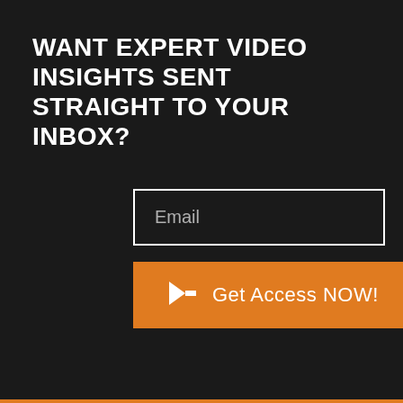WANT EXPERT VIDEO INSIGHTS SENT STRAIGHT TO YOUR INBOX?
Email
➤ Get Access NOW!